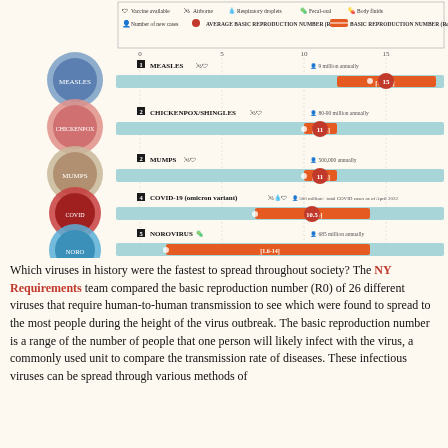[Figure (infographic): Horizontal bar chart infographic showing basic reproduction number ranges for top viruses: Measles [12-18] avg 15, Chickenpox/Shingles [10-12] avg 11, Mumps [10-12] avg 11, COVID-19 omicron [7-14] avg 10.5, Norovirus [1.6-14]. With legend showing vaccine available, airborne, respiratory droplets, fecal-oral, body fluids transmission icons.]
Which viruses in history were the fastest to spread throughout society? The NY Requirements team compared the basic reproduction number (R0) of 26 different viruses that require human-to-human transmission to see which were found to spread to the most people during the height of the virus outbreak. The basic reproduction number is a range of the number of people that one person will likely infect with the virus, a commonly used unit to compare the transmission rate of diseases. These infectious viruses can be spread through various methods of